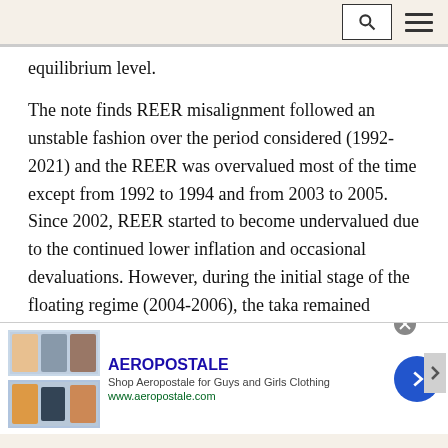[Search and menu icons]
equilibrium level.
The note finds REER misalignment followed an unstable fashion over the period considered (1992-2021) and the REER was overvalued most of the time except from 1992 to 1994 and from 2003 to 2005. Since 2002, REER started to become undervalued due to the continued lower inflation and occasional devaluations. However, during the initial stage of the floating regime (2004-2006), the taka remained competitive due to high depreciation of taka and US high
[Figure (other): Aeropostale advertisement banner with brand clothing images, logo, tagline 'Shop Aeropostale for Guys and Girls Clothing', URL www.aeropostale.com, and a blue circular CTA button with chevron arrow]